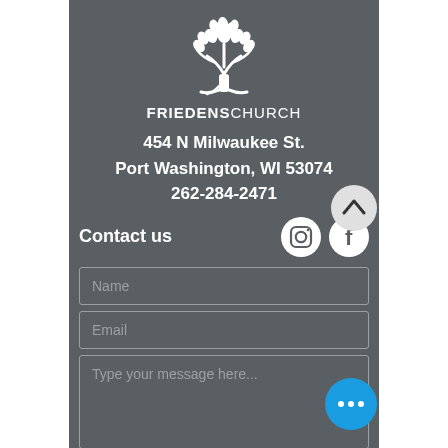[Figure (logo): Friedens Church white tree logo with leaves]
FRIEDENSCHURCH
454 N Milwaukee St.
Port Washington, WI 53074
262-284-2471
Contact us
[Figure (illustration): Instagram and Facebook social media icons in white circles]
Name
Email
Type your message here...